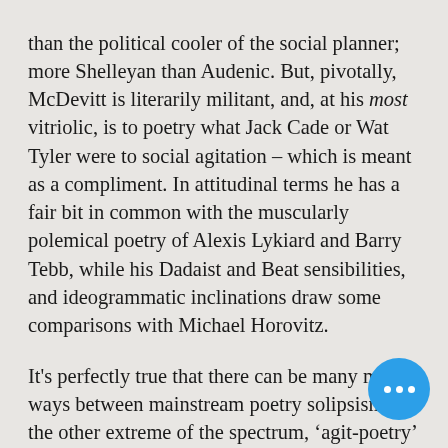than the political cooler of the social planner; more Shelleyan than Audenic. But, pivotally, McDevitt is literarily militant, and, at his most vitriolic, is to poetry what Jack Cade or Wat Tyler were to social agitation – which is meant as a compliment. In attitudinal terms he has a fair bit in common with the muscularly polemical poetry of Alexis Lykiard and Barry Tebb, while his Dadaist and Beat sensibilities, and ideogrammatic inclinations draw some comparisons with Michael Horovitz.
It's perfectly true that there can be many middle ways between mainstream poetry solipsism and the other extreme of the spectrum, 'agit-poetry' of a particular ideological view or movement; perhaps something approaching the mythical 'Auden Country' which Auden himself found